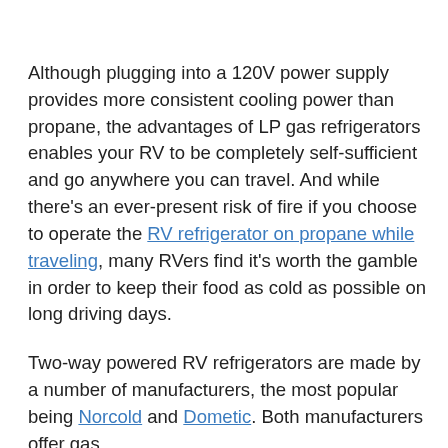Although plugging into a 120V power supply provides more consistent cooling power than propane, the advantages of LP gas refrigerators enables your RV to be completely self-sufficient and go anywhere you can travel. And while there's an ever-present risk of fire if you choose to operate the RV refrigerator on propane while traveling, many RVers find it's worth the gamble in order to keep their food as cold as possible on long driving days.
Two-way powered RV refrigerators are made by a number of manufacturers, the most popular being Norcold and Dometic. Both manufacturers offer gas absorption RV refrigerators in sizes ranging from portable coolers to apartment-sized capacities up to 17...